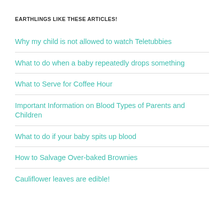EARTHLINGS LIKE THESE ARTICLES!
Why my child is not allowed to watch Teletubbies
What to do when a baby repeatedly drops something
What to Serve for Coffee Hour
Important Information on Blood Types of Parents and Children
What to do if your baby spits up blood
How to Salvage Over-baked Brownies
Cauliflower leaves are edible!